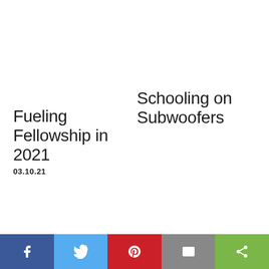Fueling Fellowship in 2021
Schooling on Subwoofers
03.10.21
[Figure (other): Social sharing bar with five buttons: Facebook (blue), Twitter (light blue), Pinterest (red), Email (grey), Share (green)]